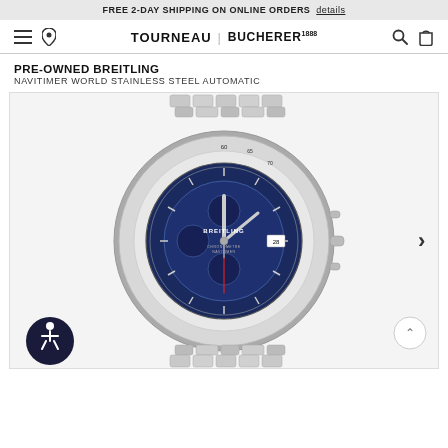FREE 2-DAY SHIPPING ON ONLINE ORDERS  details
[Figure (screenshot): Tourneau | Bucherer navigation bar with hamburger menu, location pin, logo, search and bag icons]
PRE-OWNED BREITLING
NAVITIMER WORLD STAINLESS STEEL AUTOMATIC
[Figure (photo): Breitling Navitimer World stainless steel automatic watch with blue dial, chronograph subdials, slide rule bezel, and stainless steel bracelet. Date window at 3 o'clock. Red seconds hand. BREITLING and CHRONOMETRE NAVITIMER text on dial.]